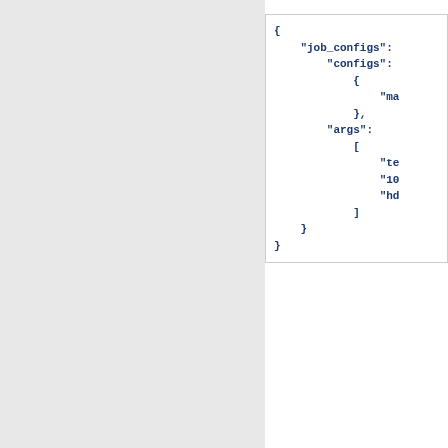[Figure (screenshot): Code block showing JSON configuration with job_configs, configs, args fields]
Rules for specifying an in
Mapping Type must be allowed (see a
Location must be a locations must be a
Value Type must b UUIDs or as valid p